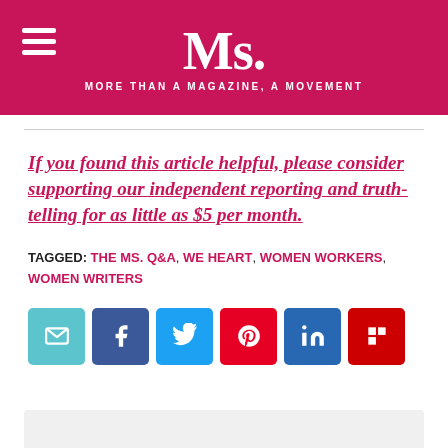Ms. MORE THAN A MAGAZINE, A MOVEMENT
If you found this article helpful, please consider supporting our independent reporting and truth-telling for as little as $5 per month.
TAGGED: THE MS. Q&A, WE HEART, WOMEN WORKERS, WOMEN WRITERS
[Figure (other): Social share buttons: email, Facebook, Twitter, Pinterest, LinkedIn, Flipboard]